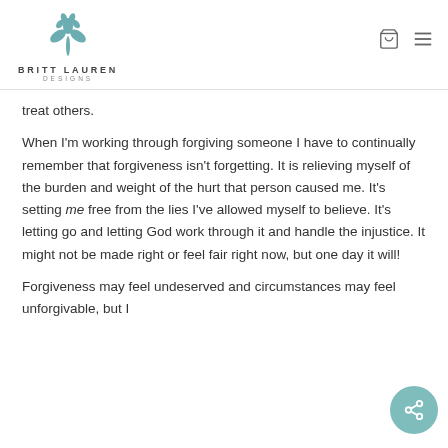BRITT LAUREN DESIGNS
treat others.
When I'm working through forgiving someone I have to continually remember that forgiveness isn't forgetting. It is relieving myself of the burden and weight of the hurt that person caused me. It's setting me free from the lies I've allowed myself to believe. It's letting go and letting God work through it and handle the injustice. It might not be made right or feel fair right now, but one day it will!
Forgiveness may feel undeserved and circumstances may feel unforgivable, but I